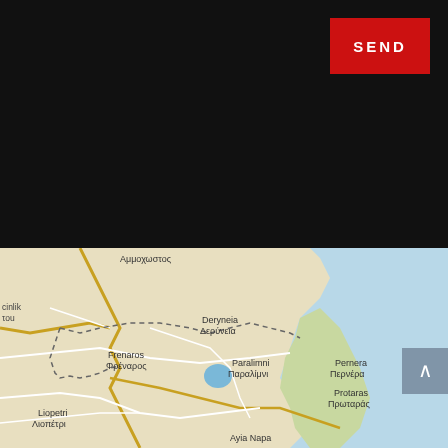[Figure (other): Black panel UI area with a red SEND button in the top right corner]
[Figure (map): Google Maps view of eastern Cyprus showing Αμμοχωστος, Deryneia/Δερύνεια, Frenaros/Φρέναρος, Paralimni/Παραλίμνι, Pernera/Περνέρα, Protaras/Πρωταράς, Liopetri/Λιοπέτρι, Ayia Napa area, with Mediterranean Sea coast visible on right side]